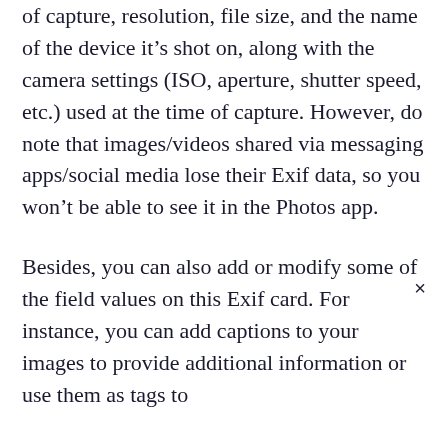of capture, resolution, file size, and the name of the device it's shot on, along with the camera settings (ISO, aperture, shutter speed, etc.) used at the time of capture. However, do note that images/videos shared via messaging apps/social media lose their Exif data, so you won't be able to see it in the Photos app.
Besides, you can also add or modify some of the field values on this Exif card. For instance, you can add captions to your images to provide additional information or use them as tags to